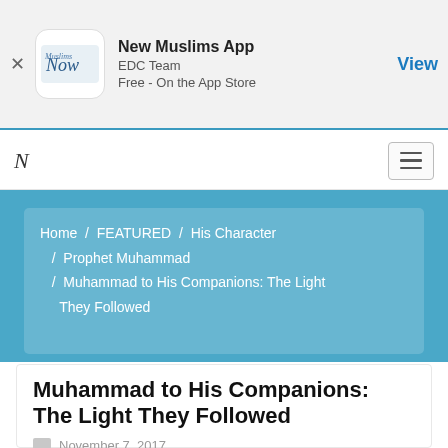New Muslims App | EDC Team | Free - On the App Store | View
[Figure (logo): New Muslims Now app icon logo with cursive text]
N (navigation logo) | hamburger menu button
Home / FEATURED / His Character / Prophet Muhammad / Muhammad to His Companions: The Light They Followed
Muhammad to His Companions: The Light They Followed
November 7, 2017
What a teacher he was, and what a man!